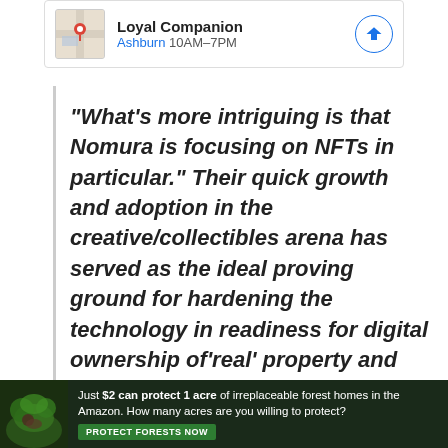[Figure (screenshot): Google Maps card showing Loyal Companion store in Ashburn with hours 10AM-7PM and a navigation button]
“What’s more intriguing is that Nomura is focusing on NFTs in particular.” Their quick growth and adoption in the creative/collectibles arena has served as the ideal proving ground for hardening the technology in readiness for digital ownership of‘real’ property and the communities
[Figure (infographic): Advertisement banner: Just $2 can protect 1 acre of irreplaceable forest homes in the Amazon. How many acres are you willing to protect? PROTECT FORESTS NOW]